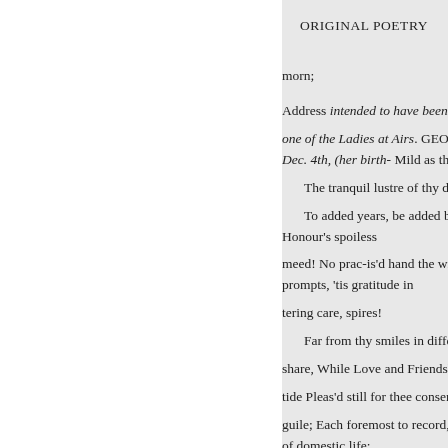ORIGINAL POETRY
morn;
Address intended to have been sp one of the Ladies at Airs. GEOR Dec. 4th, (her birth- Mild as the
The tranquil lustre of thy days
To added years, be added bliss Honour's spoiless
meed! No prac-is'd hand the will prompts, 'tis gratitude in
tering care, spires!
Far from thy smiles in differin
share, While Love and Friendshi
tide Pleas'd still for thee consenti
guile; Each foremost to record, w of domestic life;
shall save Thee, loyd precepires